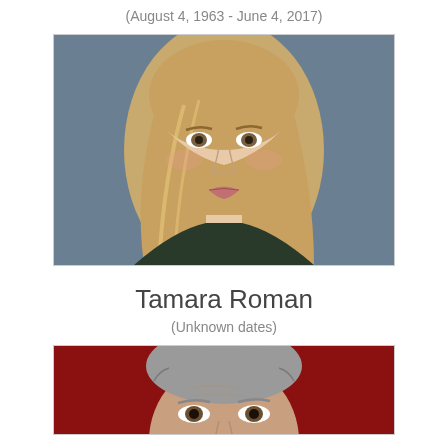(August 4, 1963 - June 4, 2017)
[Figure (photo): Portrait photo of a young woman with long blonde-brown hair against a dark blue-grey background, looking slightly upward.]
Tamara Roman
(Unknown dates)
[Figure (photo): Partial portrait photo of an older man with grey hair against a dark red background, showing forehead and eyes.]